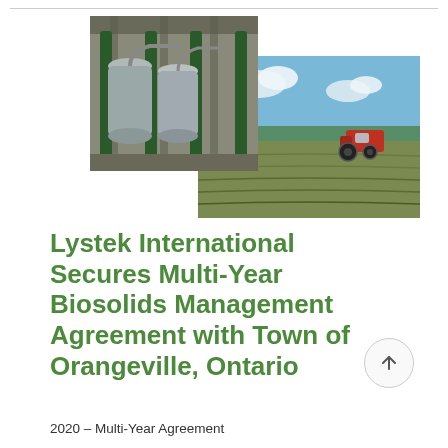[Figure (photo): Two overlapping photos: industrial facility interior with large metal tanks and green support columns (top left), and a farm field with a red tractor/harvester under blue sky (larger, background right)]
Lystek International Secures Multi-Year Biosoilids Management Agreement with Town of Orangeville, Ontario
2020 – Multi-Year Agreement